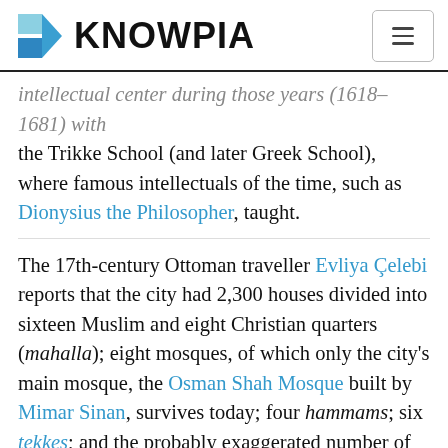KNOWPIA
intellectual center during those years (1618–1681) with the Trikke School (and later Greek School), where famous intellectuals of the time, such as Dionysius the Philosopher, taught.
The 17th-century Ottoman traveller Evliya Çelebi reports that the city had 2,300 houses divided into sixteen Muslim and eight Christian quarters (mahalla); eight mosques, of which only the city's main mosque, the Osman Shah Mosque built by Mimar Sinan, survives today; four hammams; six tekkes; and the probably exaggerated number of 1,000 shops, although Evliya curiously does not mention the city's impressive bezesten (covered market) which was demolished in the early 20th century.[6] The city was largely burned down in a great fire in 1749, a